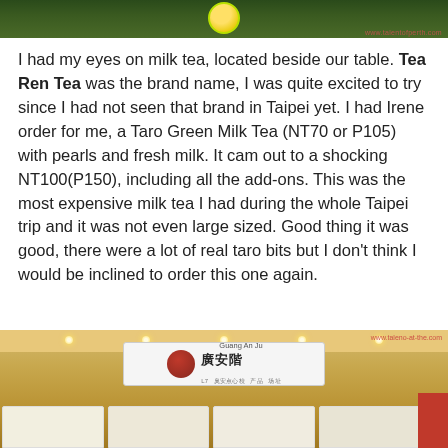[Figure (photo): Top portion of a photo showing a green background with a yellow-green circular tea logo, partially cropped at the top of the page. A faint red URL watermark is visible at the bottom right of the photo.]
I had my eyes on milk tea, located beside our table. Tea Ren Tea was the brand name, I was quite excited to try since I had not seen that brand in Taipei yet. I had Irene order for me, a Taro Green Milk Tea (NT70 or P105) with pearls and fresh milk. It cam out to a shocking NT100(P150), including all the add-ons. This was the most expensive milk tea I had during the whole Taipei trip and it was not even large sized. Good thing it was good, there were a lot of real taro bits but I don't think I would be inclined to order this one again.
[Figure (photo): Photo of a Taiwanese restaurant called Guang An Ju (廣安階) showing the storefront interior with a white sign bearing the restaurant name in Chinese and English, ceiling lights, and illuminated menu boards below the sign. A red branded banner is visible on the right side.]